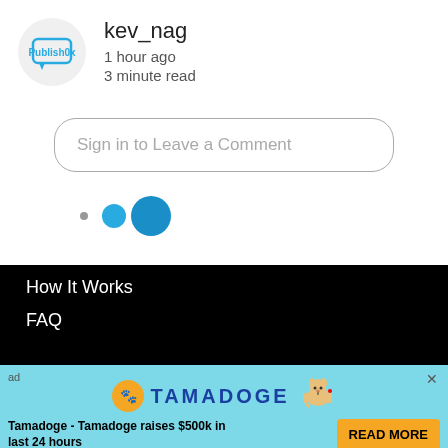kev_nag
1 hour ago
3 minute read
Sign in to Leave a Comment
[Figure (illustration): Three pagination dots: one tiny gray dot, one medium blue dot, one large blue dot]
How It Works
FAQ
[Figure (infographic): Tamadoge advertisement banner with logo, dog mascot, text 'Tamadoge - Tamadoge raises $500k in last 24 hours', and READ MORE button]